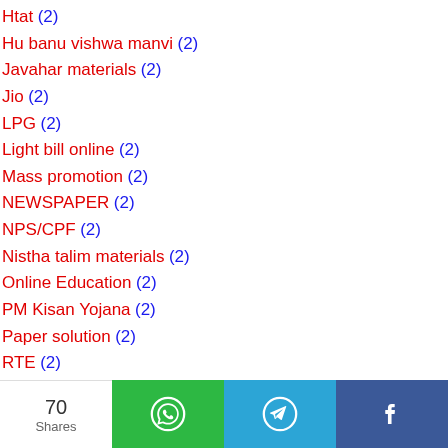Htat (2)
Hu banu vishwa manvi (2)
Javahar materials (2)
Jio (2)
LPG (2)
Light bill online (2)
Mass promotion (2)
NEWSPAPER (2)
NPS/CPF (2)
Nistha talim materials (2)
Online Education (2)
PM Kisan Yojana (2)
Paper solution (2)
RTE (2)
Raja Magni patrak (2)
Story (2)